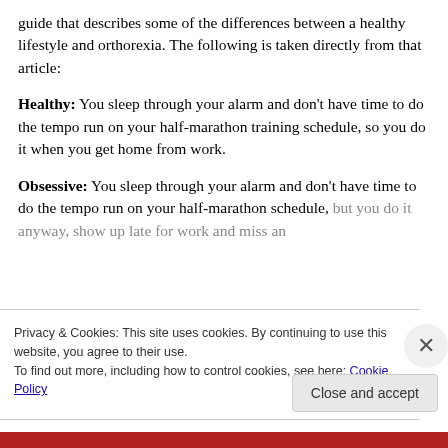guide that describes some of the differences between a healthy lifestyle and orthorexia. The following is taken directly from that article:
Healthy: You sleep through your alarm and don't have time to do the tempo run on your half-marathon training schedule, so you do it when you get home from work.
Obsessive: You sleep through your alarm and don't have time to do the tempo run on your half-marathon schedule, but you do it anyway, show up late for work and miss an
Privacy & Cookies: This site uses cookies. By continuing to use this website, you agree to their use. To find out more, including how to control cookies, see here: Cookie Policy